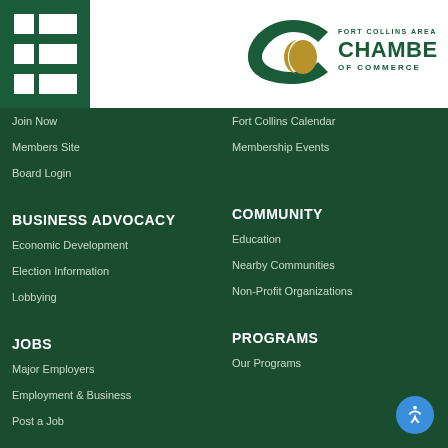[Figure (logo): Fort Collins Area Chamber of Commerce logo with green C shape and gold crescent]
Join Now
Fort Collins Calendar
Members Site
Membership Events
Board Login
BUSINESS ADVOCACY
COMMUNITY
Economic Development
Education
Election Information
Nearby Communities
Lobbying
Non-Profit Organizations
JOBS
PROGRAMS
Major Employers
Our Programs
Employment & Business
Post a Job